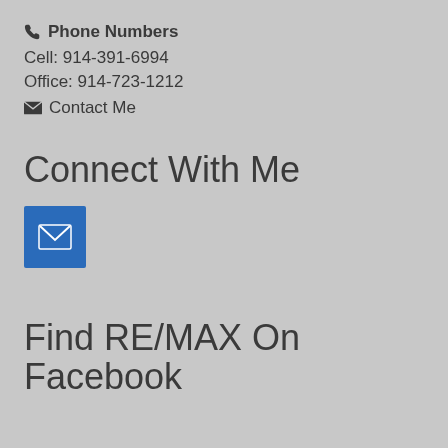Phone Numbers
Cell: 914-391-6994
Office: 914-723-1212
Contact Me
Connect With Me
[Figure (other): Blue square button with white envelope/email icon]
Find RE/MAX On Facebook